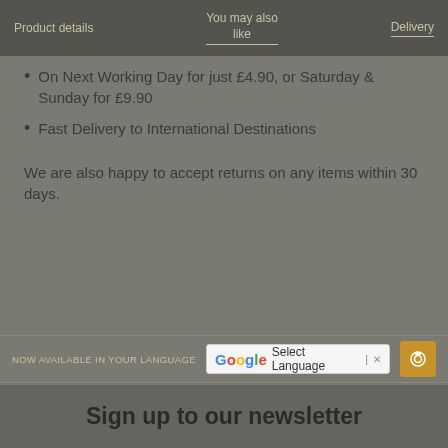Product details | You may also like | Delivery
On Next Working Day for just £4.90, or Saturday & Sunday for £9.90
Fast Delivery to International Destinations
We are also happy to accept returns on any items within 30 days.
NOW AVAILABLE IN YOUR LANGUAGE
[Figure (screenshot): Google Translate 'Select Language' button with close icon and orange camera button]
Sign up to our newsletter